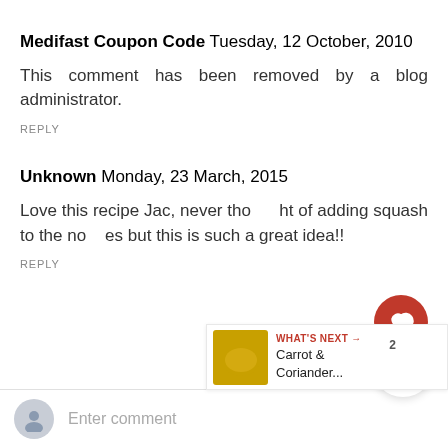Medifast Coupon Code Tuesday, 12 October, 2010
This comment has been removed by a blog administrator.
REPLY
Unknown Monday, 23 March, 2015
Love this recipe Jac, never thought of adding squash to the noodles but this is such a great idea!!
REPLY
WHAT'S NEXT → Carrot & Coriander...
Enter comment